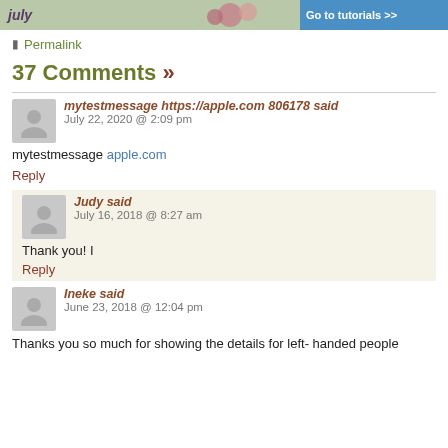[Figure (photo): Top banner image with floral/craft theme and 'Go to tutorials >>' button on right side]
Permalink
37 Comments »
mytestmessage https://apple.com 806178 said
July 22, 2020 @ 2:09 pm
mytestmessage apple.com
Reply
Judy said
July 16, 2018 @ 8:27 am
Thank you! I
Reply
Ineke said
June 23, 2018 @ 12:04 pm
Thanks you so much for showing the details for left- handed people